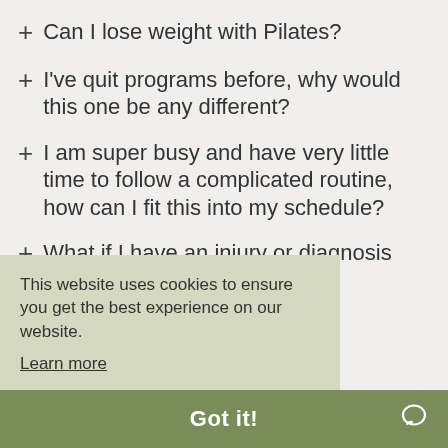+ Can I lose weight with Pilates?
+ I've quit programs before, why would this one be any different?
+ I am super busy and have very little time to follow a complicated routine, how can I fit this into my schedule?
+ What if I have an injury or diagnosis where me?
This website uses cookies to ensure you get the best experience on our website. Learn more
Got it!